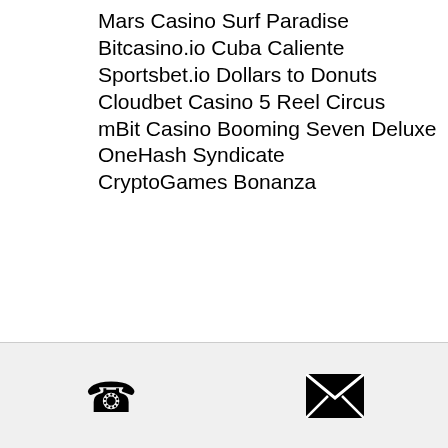Mars Casino Surf Paradise
Bitcasino.io Cuba Caliente
Sportsbet.io Dollars to Donuts
Cloudbet Casino 5 Reel Circus
mBit Casino Booming Seven Deluxe
OneHash Syndicate
CryptoGames Bonanza
http://rightsgrab.com/community/profile/bitz9069032/ https://www.arizmendikennelclub.com/profile/tesla-9786/profile https://www.craftandlight.org/profile/casino-para-yatirma-bonusu-yok-2021-aztec-temple-1499/profile https://forum.denisvk.ru/profile/bitz19604436/
[Figure (other): Footer bar with phone icon and email/envelope icon]